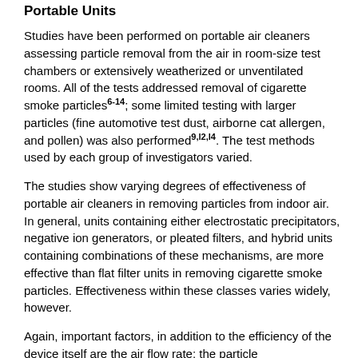Portable Units
Studies have been performed on portable air cleaners assessing particle removal from the air in room-size test chambers or extensively weatherized or unventilated rooms. All of the tests addressed removal of cigarette smoke particles6-14; some limited testing with larger particles (fine automotive test dust, airborne cat allergen, and pollen) was also performed9,l2,l4. The test methods used by each group of investigators varied.
The studies show varying degrees of effectiveness of portable air cleaners in removing particles from indoor air. In general, units containing either electrostatic precipitators, negative ion generators, or pleated filters, and hybrid units containing combinations of these mechanisms, are more effective than flat filter units in removing cigarette smoke particles. Effectiveness within these classes varies widely, however.
Again, important factors, in addition to the efficiency of the device itself are the air flow rate; the particle characteristics; the degradation of efficiency with particulate loading; the bypass of air around the collection mechanisms used; and the size of the room.